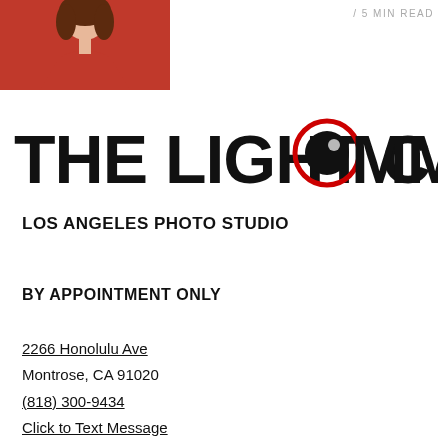[Figure (photo): Portrait photo of a woman in a red top, cropped at upper body, positioned top-left]
/ 5 MIN READ
[Figure (logo): The Light Committee logo in large bold black text with a camera lens icon replacing the letter O in COMMITTEE, featuring a red ring and black pupil]
LOS ANGELES PHOTO STUDIO
BY APPOINTMENT ONLY
2266 Honolulu Ave
Montrose, CA 91020
(818) 300-9434
Click to Text Message